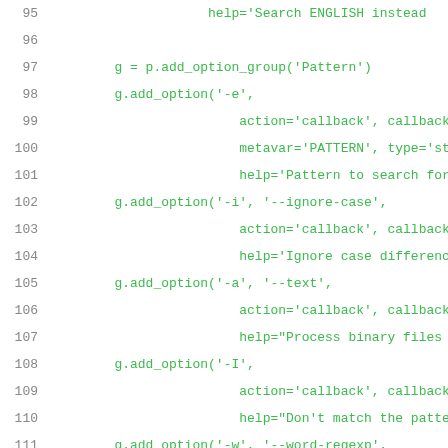[Figure (screenshot): Source code snippet showing Python option parsing code, lines 95-116, with line numbers in gray and code in green monospace font.]